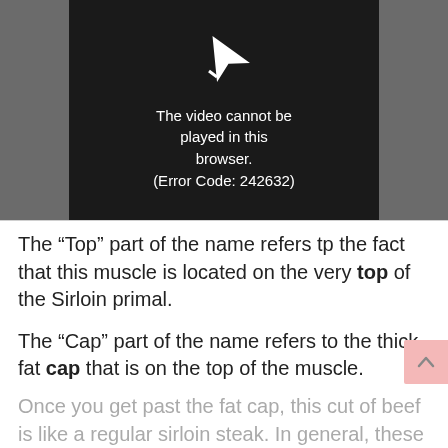[Figure (screenshot): Video player showing error message: 'The video cannot be played in this browser. (Error Code: 242632)' on a dark background with a play/cursor icon above the text.]
The “Top” part of the name refers tp the fact that this muscle is located on the very top of the Sirloin primal.
The “Cap” part of the name refers to the thick fat cap that is on the top of the muscle.
Once you get past the fat cap, this cut of beef is like a regular sirloin steak. In general, these